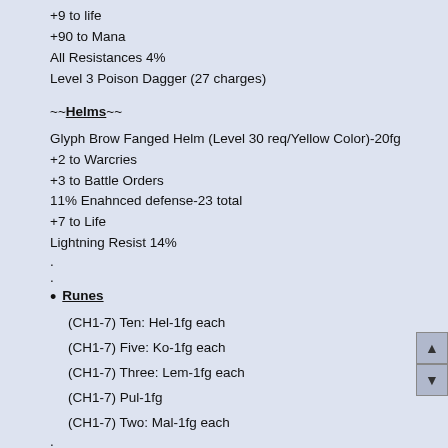+9 to life
+90 to Mana
All Resistances 4%
Level 3 Poison Dagger (27 charges)
~~Helms~~
Glyph Brow Fanged Helm (Level 30 req/Yellow Color)-20fg
+2 to Warcries
+3 to Battle Orders
11% Enahnced defense-23 total
+7 to Life
Lightning Resist 14%
Runes
(CH1-7) Ten: Hel-1fg each
(CH1-7) Five: Ko-1fg each
(CH1-7) Three: Lem-1fg each
(CH1-7) Pul-1fg
(CH1-7) Two: Mal-1fg each
Runewords
~~Armor~~
(CH1-4) Dragon Mageplate (597 defense/+4 All Attributes)-25fg